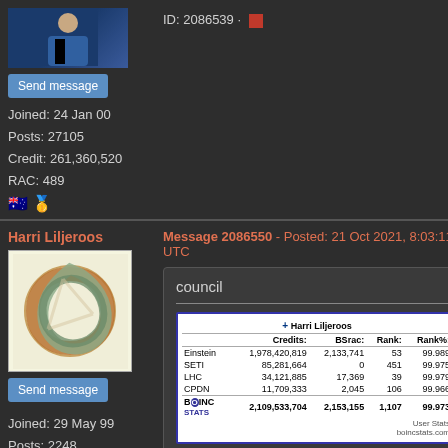[Figure (photo): User avatar photo showing person in blue clothing, partially visible at top]
Send message
Joined: 24 Jan 00
Posts: 27105
Credit: 261,360,520
RAC: 489
ID: 2086539 · [icon]
Harri Liljeroos
[Figure (photo): User avatar image showing stylized knot/torus artwork in copper and green colors]
Send message
Joined: 29 May 99
Posts: 2248
Credit: 85,281,665
RAC: 126
Message 2086550 - Posted: 21 Oct 2021, 8:03:11 UTC
council
|  | Credits: | BSrac: | Rank: | Rank%: |
| --- | --- | --- | --- | --- |
| Einstein | 1,978,420,819 | 2,133,741 | 53 | 99.989 |
| SETI | 85,281,664 | 0 | 451 | 99.975 |
| LHC | 34,121,885 | 17,369 | 39 | 99.979 |
| CPDN | 11,709,333 | 2,045 | 106 | 99.966 |
| [BOINC STATS logo] | 2,109,533,704 | 2,153,155 | 1,107 | 99.973 |
ID: 2086550 · [icon]